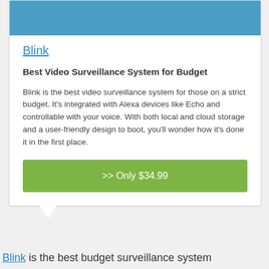[Figure (other): Blue banner image at top of card]
Blink
Best Video Surveillance System for Budget
Blink is the best video surveillance system for those on a strict budget. It’s integrated with Alexa devices like Echo and controllable with your voice. With both local and cloud storage and a user-friendly design to boot, you'll wonder how it's done it in the first place.
>> Only $34.99
Blink is the best budget surveillance system